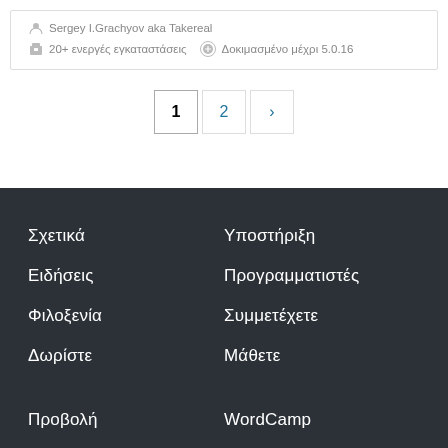Sergey I.Grachyov aka Takereal
20+ ενεργές εγκαταστάσεις   Δοκιμασμένο μέχρι 5.0.16
1  2  ›
Σχετικά
Υποστήριξη
Ειδήσεις
Προγραμματιστές
Φιλοξενία
Συμμετέχετε
Δωρίστε
Μάθετε
Προβολή
WordCamp
Πρόσθετα
WordPress.TV